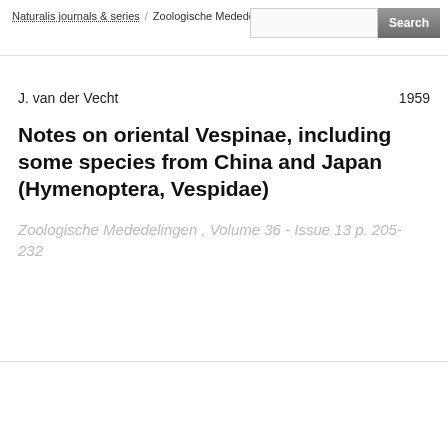Naturalis journals & series / Zoologische Mededelingen / Article
J. van der Vecht  1959
Notes on oriental Vespinae, including some species from China and Japan (Hymenoptera, Vespidae)
Zoologische Mededelingen , Volume 36 - Issue 13 p. 205- 232